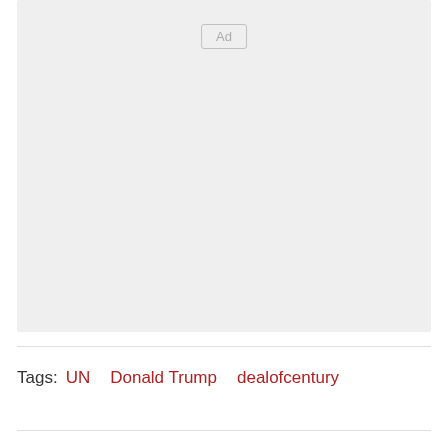[Figure (other): Advertisement placeholder box with 'Ad' label in center-top area]
Tags:  UN    Donald Trump    dealofcentury